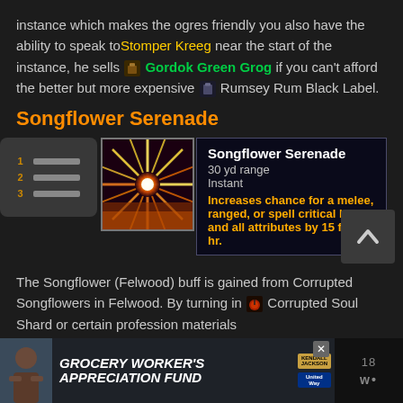instance which makes the ogres friendly you also have the ability to speak to Stomper Kreeg near the start of the instance, he sells [icon] Gordok Green Grog if you can't afford the better but more expensive [icon] Rumsey Rum Black Label.
Songflower Serenade
[Figure (screenshot): Game tooltip card showing Songflower Serenade spell: 30 yd range, Instant cast. Description in orange: Increases chance for a melee, ranged, or spell critical by 5% and all attributes by 15 for 1 hr. Spell icon shows a radiant flower burst.]
The Songflower (Felwood) buff is gained from Corrupted Songflowers in Felwood. By turning in [icon] Corrupted Soul Shard or certain profession materials
[Figure (screenshot): Advertisement banner: Grocery Worker's Appreciation Fund, with Kendall Jackson and United Way logos and a person holding groceries.]